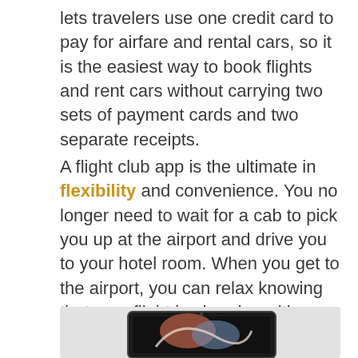lets travelers use one credit card to pay for airfare and rental cars, so it is the easiest way to book flights and rent cars without carrying two sets of payment cards and two separate receipts.
A flight club app is the ultimate in flexibility and convenience. You no longer need to wait for a cab to pick you up at the airport and drive you to your hotel room. When you get to the airport, you can relax knowing that your flight is already waiting. There are a lot of benefits to using a flight club app. If you are searching for a good flight club app, you need to find one that fits your needs and preferences.
[Figure (photo): Partially visible tablet/device showing a dark screen with abstract colorful content, cropped at the bottom of the page.]